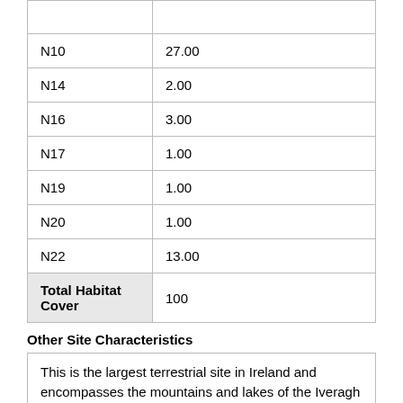| Code | Value |
| --- | --- |
|  |  |
| N10 | 27.00 |
| N14 | 2.00 |
| N16 | 3.00 |
| N17 | 1.00 |
| N19 | 1.00 |
| N20 | 1.00 |
| N22 | 13.00 |
| Total Habitat Cover | 100 |
Other Site Characteristics
This is the largest terrestrial site in Ireland and encompasses the mountains and lakes of the Iveragh Peninsula and the Paps range. It is the most mountainous region of Ireland, and includes the highest peak